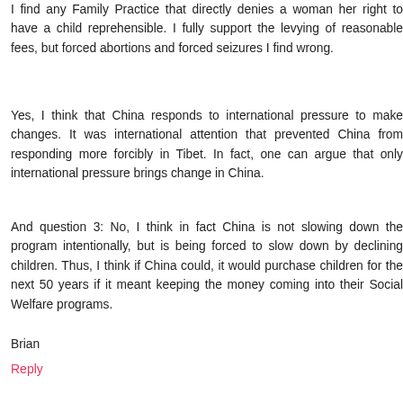I find any Family Practice that directly denies a woman her right to have a child reprehensible. I fully support the levying of reasonable fees, but forced abortions and forced seizures I find wrong.
Yes, I think that China responds to international pressure to make changes. It was international attention that prevented China from responding more forcibly in Tibet. In fact, one can argue that only international pressure brings change in China.
And question 3: No, I think in fact China is not slowing down the program intentionally, but is being forced to slow down by declining children. Thus, I think if China could, it would purchase children for the next 50 years if it meant keeping the money coming into their Social Welfare programs.
Brian
Reply